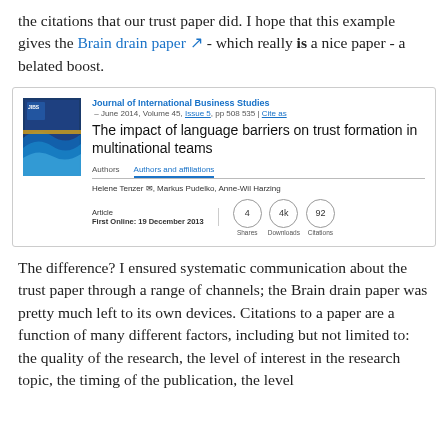the citations that our trust paper did. I hope that this example gives the Brain drain paper - which really is a nice paper - a belated boost.
[Figure (screenshot): Academic paper card from SpringerLink for 'The impact of language barriers on trust formation in multinational teams', Journal of International Business Studies, June 2014, Volume 45, Issue 5, pp 508-535. Authors: Helene Tenzer, Markus Pudelko, Anne-Wil Harzing. First Online: 19 December 2013. Stats: 4 Shares, 4k Downloads, 92 Citations.]
The difference? I ensured systematic communication about the trust paper through a range of channels; the Brain drain paper was pretty much left to its own devices. Citations to a paper are a function of many different factors, including but not limited to: the quality of the research, the level of interest in the research topic, the timing of the publication, the level